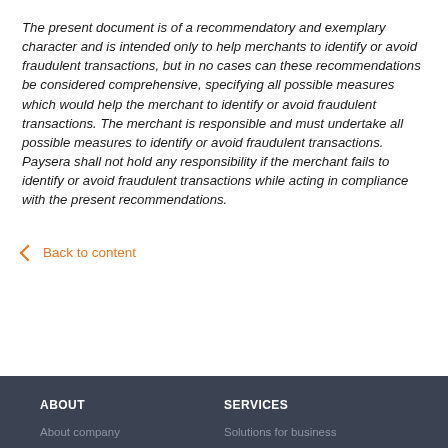The present document is of a recommendatory and exemplary character and is intended only to help merchants to identify or avoid fraudulent transactions, but in no cases can these recommendations be considered comprehensive, specifying all possible measures which would help the merchant to identify or avoid fraudulent transactions. The merchant is responsible and must undertake all possible measures to identify or avoid fraudulent transactions. Paysera shall not hold any responsibility if the merchant fails to identify or avoid fraudulent transactions while acting in compliance with the present recommendations.
◀ Back to content
ABOUT | About company | SERVICES | Solutions for business